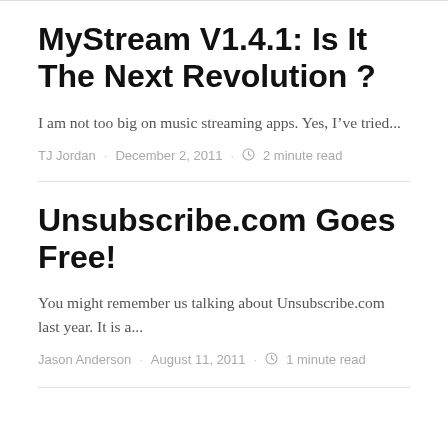MyStream V1.4.1: Is It The Next Revolution ?
I am not too big on music streaming apps. Yes, I've tried...
TJ Jordan · December 2, 2011 · 2 minute read
Unsubscribe.com Goes Free!
You might remember us talking about Unsubscribe.com last year. It is a...
Jason Anderson · August 11, 2011 · 1 minute read